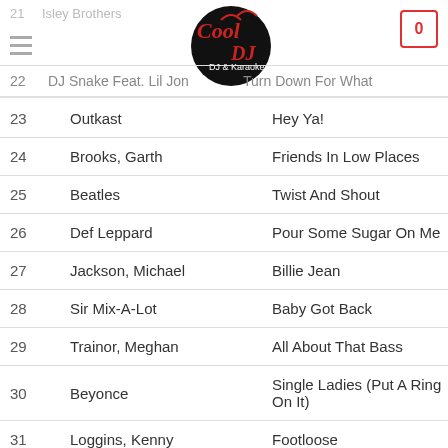Cool DJ & Karaoke — navigation header with logo and cart
| # | Artist | Song |
| --- | --- | --- |
| 21 | Isley Brothers |  |
| 22 | DJ Snake Feat. Lil Jon | Turn Down For What |
| 23 | Outkast | Hey Ya! |
| 24 | Brooks, Garth | Friends In Low Places |
| 25 | Beatles | Twist And Shout |
| 26 | Def Leppard | Pour Some Sugar On Me |
| 27 | Jackson, Michael | Billie Jean |
| 28 | Sir Mix-A-Lot | Baby Got Back |
| 29 | Trainor, Meghan | All About That Bass |
| 30 | Beyonce | Single Ladies (Put A Ring On It) |
| 31 | Loggins, Kenny | Footloose |
| 32 | Lynyrd Skynyrd | Sweet Home Alabama |
| 33 | Lmfao | Sexy And I Know It |
| 34 | Rihanna Feat. Calvin Harris | We Found... |